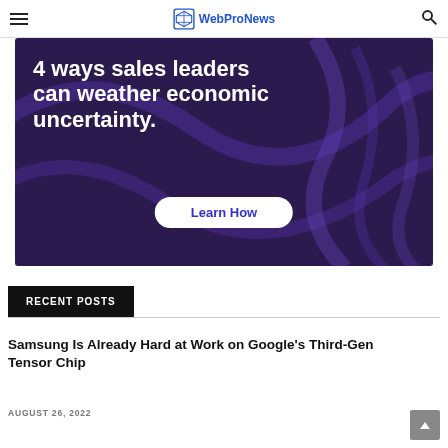WebProNews
[Figure (illustration): Purple advertisement banner reading '4 ways sales leaders can weather economic uncertainty.' with a 'Learn How' button and decorative curved lines.]
RECENT POSTS
Samsung Is Already Hard at Work on Google's Third-Gen Tensor Chip
AUGUST 26, 2022